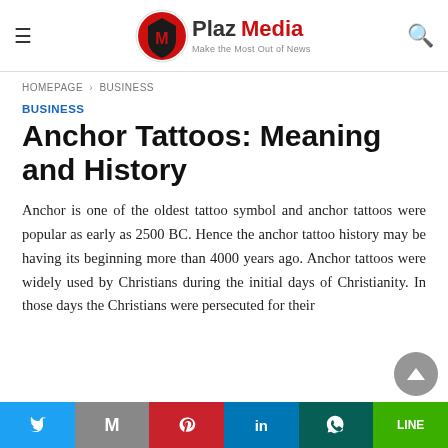Plaz Media — Make the Most Out of News
HOMEPAGE › BUSINESS
BUSINESS
Anchor Tattoos: Meaning and History
Anchor is one of the oldest tattoo symbol and anchor tattoos were popular as early as 2500 BC. Hence the anchor tattoo history may be having its beginning more than 4000 years ago. Anchor tattoos were widely used by Christians during the initial days of Christianity. In those days the Christians were persecuted for their